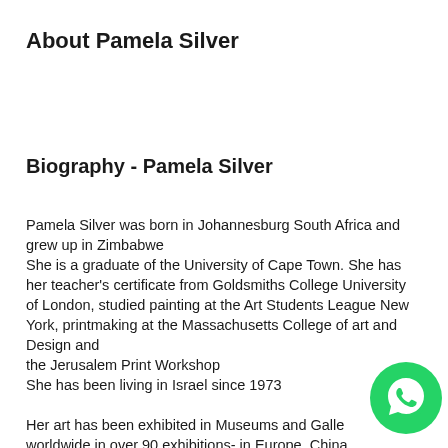About Pamela Silver
Biography - Pamela Silver
Pamela Silver was born in Johannesburg South Africa and grew up in Zimbabwe
She is a graduate of the University of Cape Town. She has her teacher's certificate from Goldsmiths College University of London, studied painting at the Art Students League New York, printmaking at the Massachusetts College of art and Design and
the Jerusalem Print Workshop
She has been living in Israel since 1973

Her art has been exhibited in Museums and Galleries worldwide in over 90 exhibitions- in Europe, China, India, Russia, the USA, the UK, Africa and Israel
[Figure (logo): WhatsApp icon — green circle with white phone handset]